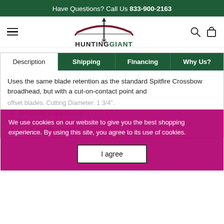Have Questions? Call Us 833-900-2163
[Figure (logo): HuntingGiant logo with bow and arrow graphic above the text HUNTINGGIANT]
Description | Shipping | Financing | Why Us?
Uses the same blade retention as the standard Spitfire Crossbow broadhead, but with a cut-on-contact point and offset blades. Cutting Diameter: 1 3/4".
Surgically sharp blades
Non-venting design
1 3/4" cutting diameter
We use cookies on our website to give you the best shopping experience. By using this site, you agree to its use of cookies.